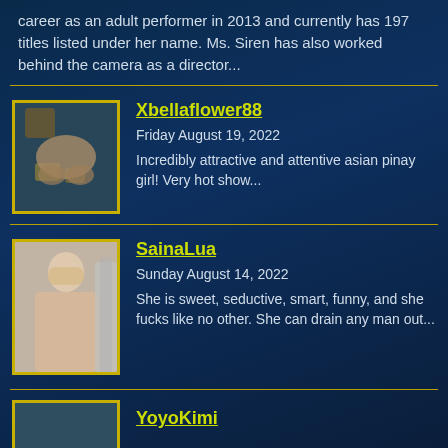career as an adult performer in 2013 and currently has 197 titles listed under her name. Ms. Siren has also worked behind the camera as a director...
Xbellaflower88
Friday August 19, 2022
Incredibly attractive and attentive asian pinay girl! Very hot show...
SainaLua
Sunday August 14, 2022
She is sweet, seductive, smart, funny, and she fucks like no other. She can drain any man out...
YoyoKimi